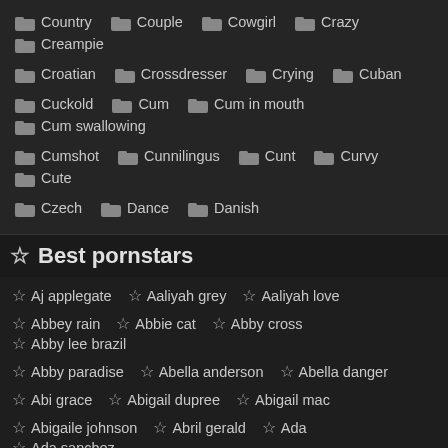Country, Couple, Cowgirl, Crazy, Creampie
Croatian, Crossdresser, Crying, Cuban
Cuckold, Cum, Cum in mouth, Cum swallowing
Cumshot, Cunnilingus, Cunt, Curvy, Cute
Czech, Dance, Danish
☆ Best pornstars
Aj applegate, Aaliyah grey, Aaliyah love
Abbey rain, Abbie cat, Abby cross, Abby lee brazil
Abby paradise, Abella anderson, Abella danger
Abi grace, Abigail dupree, Abigail mac
Abigaile johnson, Abril gerald, Ada, Ada sanchez
Addie juniper, Addison lee, Addison ryder
Adele sunshine, Adessa winters, Adreena winters